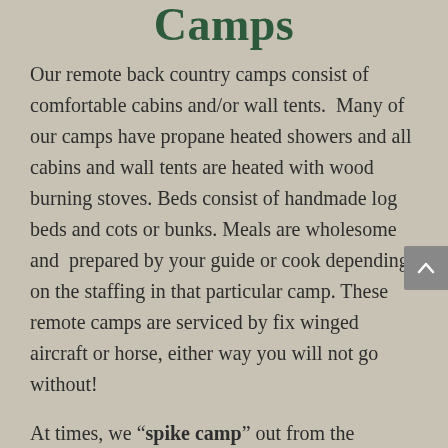Camps
Our remote back country camps consist of comfortable cabins and/or wall tents.  Many of our camps have propane heated showers and all cabins and wall tents are heated with wood burning stoves. Beds consist of handmade log beds and cots or bunks. Meals are wholesome and  prepared by your guide or cook depending on the staffing in that particular camp. These remote camps are serviced by fix winged aircraft or horse, either way you will not go without!
At times, we “spike camp” out from the primary back country camps. These spike